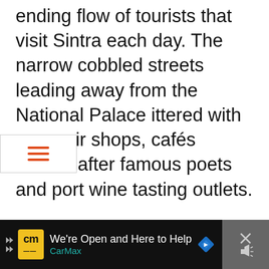ending flow of tourists that visit Sintra each day. The narrow cobbled streets leading away from the National Palace ittered with souvenir shops, cafés named after famous poets and port wine tasting outlets.
[Figure (screenshot): Hamburger menu icon with three orange/red horizontal lines inside a white box with border]
[Figure (screenshot): Webpage UI elements: teal heart button, 5.1K share count, share button, advertisement banner for mental health (Seize the Awkward), What's Next section for Sintra Hotels, CarMax bottom advertisement bar]